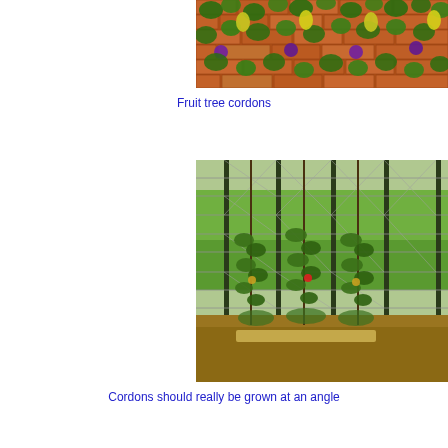[Figure (photo): Fruit tree cordons trained against a brick wall, showing green leaves, pears and purple plums against a red-orange brick background.]
Fruit tree cordons
[Figure (photo): Young cordon fruit trees trained vertically against wire mesh fencing supported by green metal posts, in a garden bed with mulch. Green grass visible in background.]
Cordons should really be grown at an angle